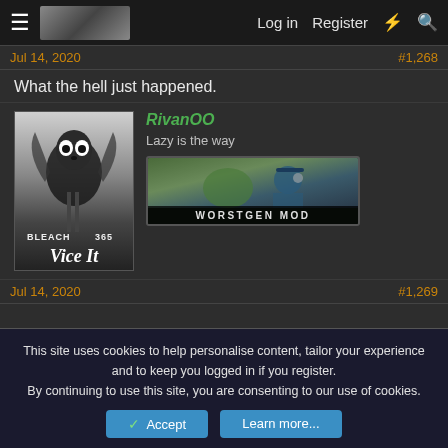Log in   Register
Jul 14, 2020   #1,268
What the hell just happened.
[Figure (illustration): Manga avatar image from Bleach chapter 365, showing a skeletal skull figure with wings, with text 'BLEACH 365' and 'Vice It' at the bottom]
RivanOO
Lazy is the way
[Figure (illustration): WORSTGEN MOD badge showing an anime military character in green/blue tones with text 'WORSTGEN MOD' at the bottom]
Jul 14, 2020   #1,269
This site uses cookies to help personalise content, tailor your experience and to keep you logged in if you register.
By continuing to use this site, you are consenting to our use of cookies.
Accept   Learn more...